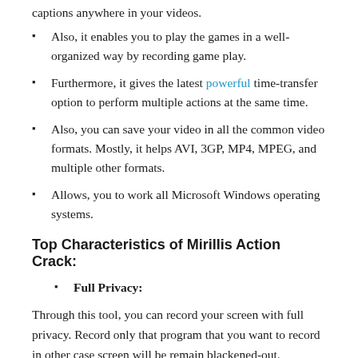Also, it enables you to play the games in a well-organized way by recording game play.
Furthermore, it gives the latest powerful time-transfer option to perform multiple actions at the same time.
Also, you can save your video in all the common video formats. Mostly, it helps AVI, 3GP, MP4, MPEG, and multiple other formats.
Allows, you to work all Microsoft Windows operating systems.
Top Characteristics of Mirillis Action Crack:
Full Privacy:
Through this tool, you can record your screen with full privacy. Record only that program that you want to record in other case screen will be remain blackened-out.